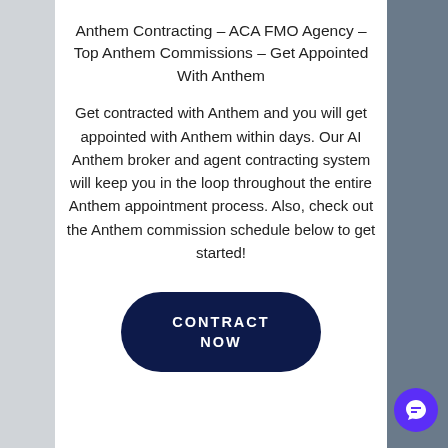Anthem Contracting – ACA FMO Agency – Top Anthem Commissions – Get Appointed With Anthem
Get contracted with Anthem and you will get appointed with Anthem within days. Our AI Anthem broker and agent contracting system will keep you in the loop throughout the entire Anthem appointment process. Also, check out the Anthem commission schedule below to get started!
[Figure (other): Dark navy rounded rectangle button with white uppercase bold text reading CONTRACT NOW]